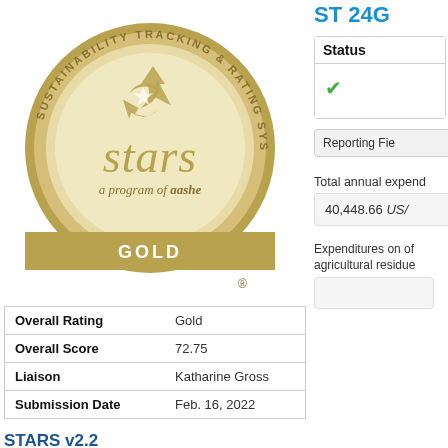[Figure (logo): STARS Gold medal logo - Sustainability Tracking & Rating System, a program of aashe, GOLD]
|  |  |
| --- | --- |
| Overall Rating | Gold |
| Overall Score | 72.75 |
| Liaison | Katharine Gross |
| Submission Date | Feb. 16, 2022 |
STARS v2.2
ST 24G
Status
✓
Reporting Fie
Total annual expend
40,448.66 US/
Expenditures on of agricultural residue